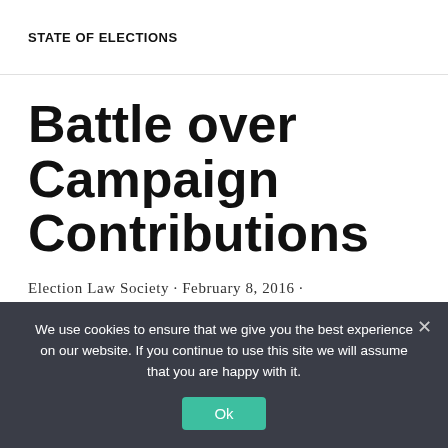STATE OF ELECTIONS
Battle over Campaign Contributions
Election Law Society · February 8, 2016 ·
—
By: Lauren Coleman
We use cookies to ensure that we give you the best experience on our website. If you continue to use this site we will assume that you are happy with it.